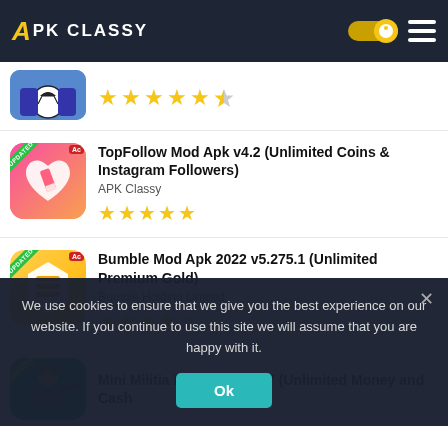APK CLASSY
[Figure (screenshot): Partial app listing with soccer/football image and 4.5 star rating]
TopFollow Mod Apk v4.2 (Unlimited Coins & Instagram Followers) - APK Classy - 5 stars
Bumble Mod Apk 2022 v5.275.1 (Unlimited Premium Gold) - Bumble Holding Limited - 4 stars
Mini Militia Mod Apk v5.3.7 (Unlimited Money and Cash
We use cookies to ensure that we give you the best experience on our website. If you continue to use this site we will assume that you are happy with it.